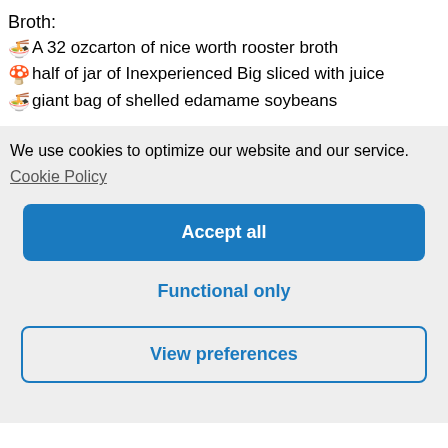Broth:
🍜A 32 ozcarton of nice worth rooster broth
🍄half of jar of Inexperienced Big sliced with juice
🍜giant bag of shelled edamame soybeans
We use cookies to optimize our website and our service.
Cookie Policy
Accept all
Functional only
View preferences